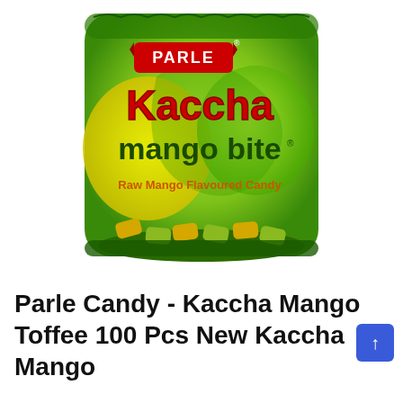[Figure (photo): A bag of Parle Kaccha Mango Bite candy. The bag is green and yellow with swirling mango designs. It features the PARLE logo in a red banner at the top, 'Kaccha' in large red letters, 'mango bite' in dark green letters, and 'Raw Mango Flavoured Candy' in orange text at the bottom. The bag contains individually wrapped green/gold candies visible at the bottom.]
Parle Candy - Kaccha Mango Toffee 100 Pcs New Kaccha Mango